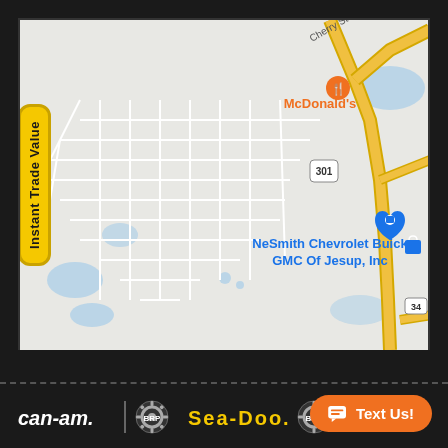[Figure (map): Google Maps view of Jesup, GA area showing NeSmith Chevrolet Buick GMC Of Jesup, Inc and McDonald's near route 301 and Cherry St. Yellow roads indicate major routes. Map includes an 'Instant Trade Value' badge on the left side.]
[Figure (logo): Can-Am brand logo in white italic text with BRP gear logo, Sea-Doo brand logo in yellow text with BRP gear logo, and an orange 'Text Us!' chat button in the bottom section on a dark background.]